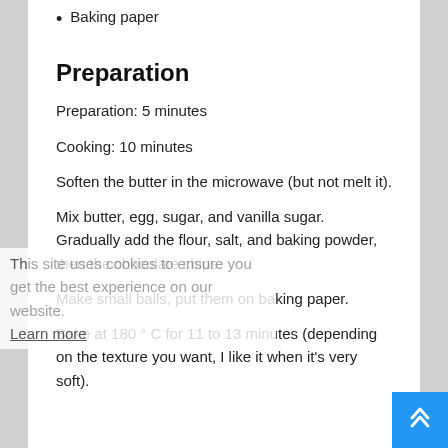Baking paper
Preparation
Preparation: 5 minutes
Cooking: 10 minutes
Soften the butter in the microwave (but not melt it).
Mix butter, egg, sugar, and vanilla sugar. Gradually add the flour, salt, and baking powder, then the chocolate chips.
Make small balls, put them on baking paper.
Bake at 180 ° C for 11 to 13 minutes (depending on the texture you want, I like it when it's very soft).